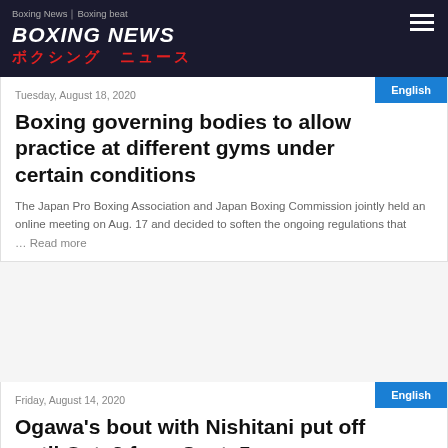Boxing News｜Boxing beat BOXING NEWS ボクシング ニュース
Tuesday, August 18, 2020
Boxing governing bodies to allow practice at different gyms under certain conditions
The Japan Pro Boxing Association and Japan Boxing Commission jointly held an online meeting on Aug. 17 and decided to soften the ongoing regulations that
… Read more
Friday, August 14, 2020
Ogawa's bout with Nishitani put off until Oct. 2 from Sept. 5
Highly touted Kenichi Ogawa's bout with eighth-ranked International Boxing